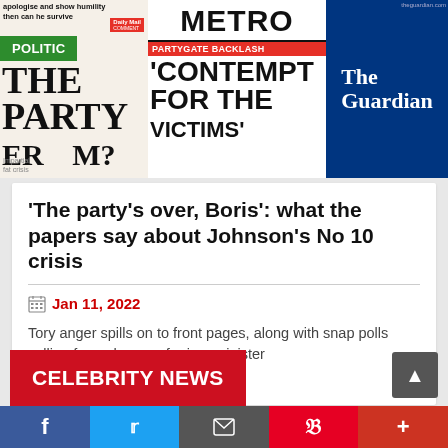[Figure (photo): Composite of newspaper front pages including The Daily Mail, Metro with 'CONTEMPT FOR THE' headline about Partygate, and The Guardian masthead. A green 'POLITIC' badge overlays the left section.]
'The party's over, Boris': what the papers say about Johnson's No 10 crisis
Jan 11, 2022
Tory anger spills on to front pages, along with snap polls calling for a change of prime minister
READ MORE
CELEBRITY NEWS
f  Twitter  Email  Pinterest  +